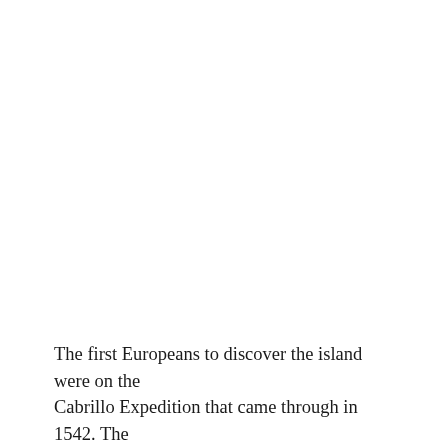The first Europeans to discover the island were on the Cabrillo Expedition that came through in 1542. The